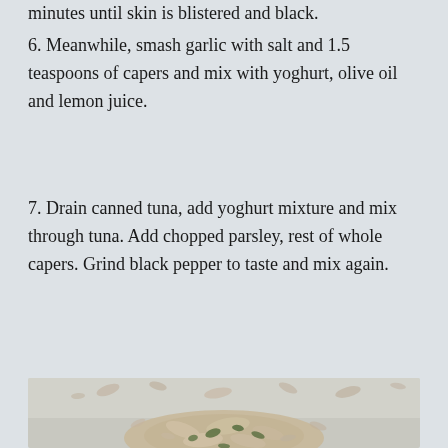minutes until skin is blistered and black.
6. Meanwhile, smash garlic with salt and 1.5 teaspoons of capers and mix with yoghurt, olive oil and lemon juice.
7. Drain canned tuna, add yoghurt mixture and mix through tuna. Add chopped parsley, rest of whole capers. Grind black pepper to taste and mix again.
[Figure (photo): Close-up photo of drained tuna mixed with herbs (parsley) and capers on a light surface, showing the tuna mixture preparation.]